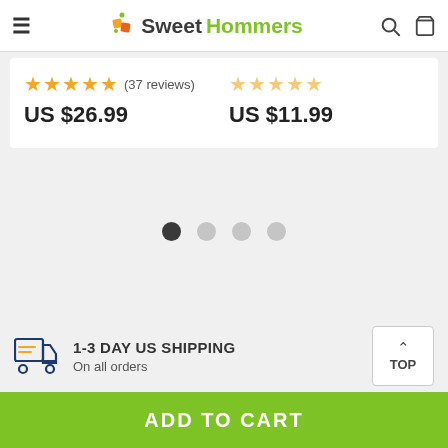Sweet Hommers
★★★★★ (37 reviews) US $26.99
★★★★★ US $11.99
[Figure (other): Pagination dots: 4 circles, first one dark/active, rest light gray]
1-3 DAY US SHIPPING
On all orders
ADD TO CART